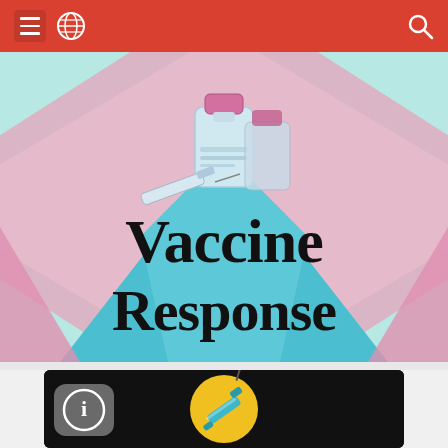Navigation bar with menu and search
[Figure (illustration): Vaccine Response hero banner illustration with vaccine vials, syringes, pink diamond shapes on teal/mint background with bold text 'Vaccine Response']
Vaccine Response
[Figure (illustration): Video thumbnail on black background showing a yellow circle with a syringe/vaccine icon and an info button overlay in the bottom left]